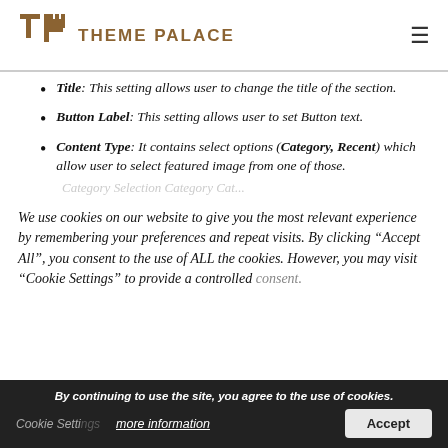THEME PALACE
Title: This setting allows user to change the title of the section.
Button Label: This setting allows user to set Button text.
Content Type: It contains select options (Category, Recent) which allow user to select featured image from one of those.
We use cookies on our website to give you the most relevant experience by remembering your preferences and repeat visits. By clicking “Accept All”, you consent to the use of ALL the cookies. However, you may visit “Cookie Settings” to provide a controlled consent.
By continuing to use the site, you agree to the use of cookies.
more information | Accept